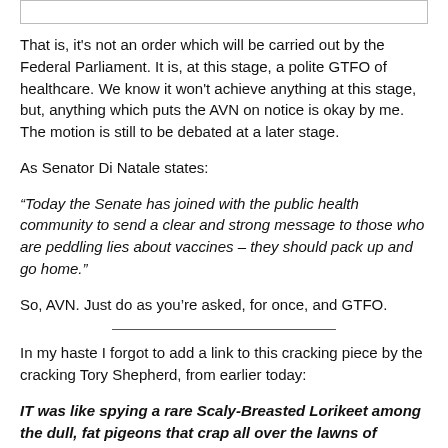That is, it's not an order which will be carried out by the Federal Parliament. It is, at this stage, a polite GTFO of healthcare. We know it won't achieve anything at this stage, but, anything which puts the AVN on notice is okay by me. The motion is still to be debated at a later stage.
As Senator Di Natale states:
“Today the Senate has joined with the public health community to send a clear and strong message to those who are peddling lies about vaccines – they should pack up and go home.”
So, AVN. Just do as you’re asked, for once, and GTFO.
In my haste I forgot to add a link to this cracking piece by the cracking Tory Shepherd, from earlier today:
IT was like spying a rare Scaly-Breasted Lorikeet among the dull, fat pigeons that crap all over the lawns of Parliament.
Amid the grey flutter was a bright jewel – a piece of sensible politicking